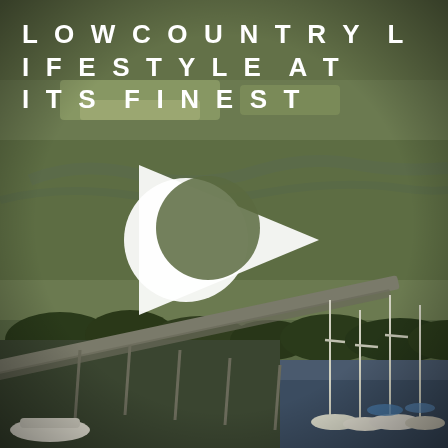[Figure (photo): Aerial photograph of a lowcountry marsh landscape with a marina in the foreground featuring docked sailboats, a long dock/pier, tidal waterways winding through green salt marshes, and trees in the background. A video play button overlay (white triangle with a crescent moon logo) is centered on the image.]
LOWCOUNTRY LIFESTYLE AT ITS FINEST